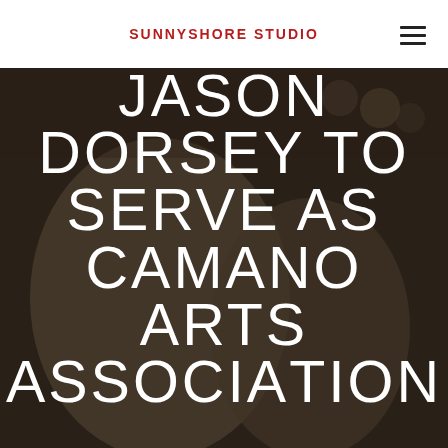SUNNYSHORE STUDIO
[Figure (photo): Background photo of two people (a man and a woman) smiling, taken at what appears to be a crowded public event or stadium. The image is darkened/dimmed to allow white text overlay.]
JASON DORSEY TO SERVE AS CAMANO ARTS ASSOCIATION